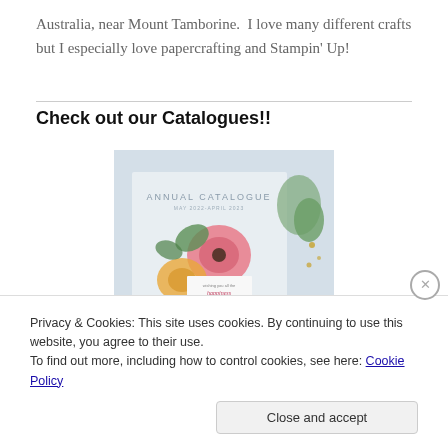Australia, near Mount Tamborine.  I love many different crafts but I especially love papercrafting and Stampin' Up!
Check out our Catalogues!!
[Figure (photo): Cover of an Annual Catalogue showing floral paper crafts with pink poppies, yellow flowers, and green foliage on a light blue background with text 'ANNUAL CATALOGUE MAY 2022-APRIL 2023' and a card reading 'wishing you all the happiness you can imagine']
Privacy & Cookies: This site uses cookies. By continuing to use this website, you agree to their use.
To find out more, including how to control cookies, see here: Cookie Policy
Close and accept